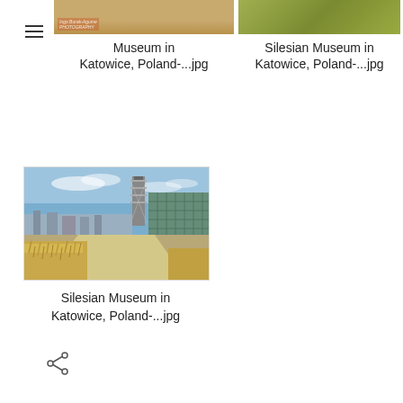[Figure (photo): Partially cropped photo of Silesian Museum exterior with sandy/earthy tones and watermark overlay]
Museum in Katowice, Poland-...jpg
[Figure (photo): Partially cropped photo of Silesian Museum rooftop or grounds with green/yellow mossy texture]
Silesian Museum in Katowice, Poland-...jpg
[Figure (photo): Full photo of Silesian Museum in Katowice, Poland showing industrial tower, modern glass building facade, pathway and dry grass in foreground against blue cloudy sky]
Silesian Museum in Katowice, Poland-...jpg